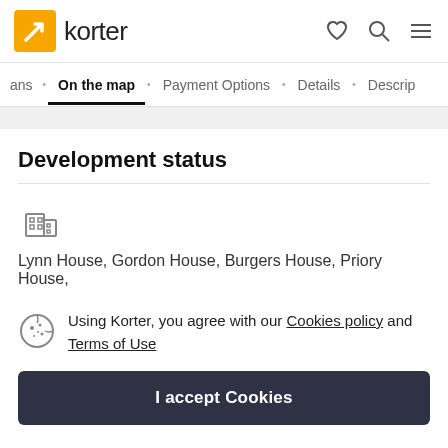korter
ans • On the map • Payment Options • Details • Descrip
Development status
Lynn House, Gordon House, Burgers House, Priory House,
Using Korter, you agree with our Cookies policy and Terms of Use
I accept Cookies